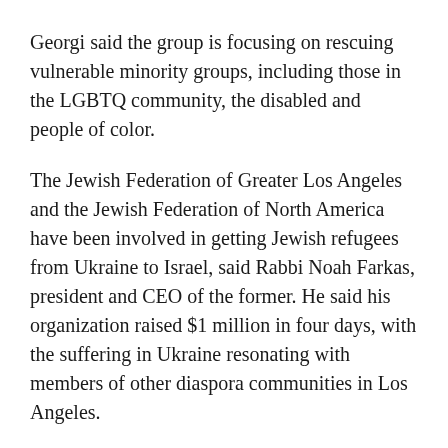Georgi said the group is focusing on rescuing vulnerable minority groups, including those in the LGBTQ community, the disabled and people of color.
The Jewish Federation of Greater Los Angeles and the Jewish Federation of North America have been involved in getting Jewish refugees from Ukraine to Israel, said Rabbi Noah Farkas, president and CEO of the former. He said his organization raised $1 million in four days, with the suffering in Ukraine resonating with members of other diaspora communities in Los Angeles.
"Many here in Los Angeles, even if they are not Russian or Ukrainian, see themselves in this story," Farkas said. "We've received donations from children and grandchildren of Holocaust survivors. We have a diverse community in Los Angeles —